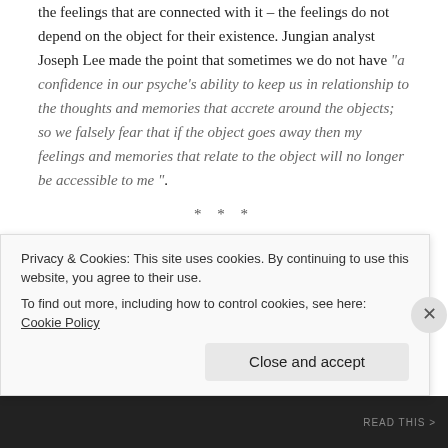the feelings that are connected with it – the feelings do not depend on the object for their existence. Jungian analyst Joseph Lee made the point that sometimes we do not have "a confidence in our psyche's ability to keep us in relationship to the thoughts and memories that accrete around the objects; so we falsely fear that if the object goes away then my feelings and memories that relate to the object will no longer be accessible to me ".
***
A similar point was made incredibly beautifully and poignantly by blogger 'Reflections of a Mindful Heart and
Privacy & Cookies: This site uses cookies. By continuing to use this website, you agree to their use.
To find out more, including how to control cookies, see here: Cookie Policy
Close and accept